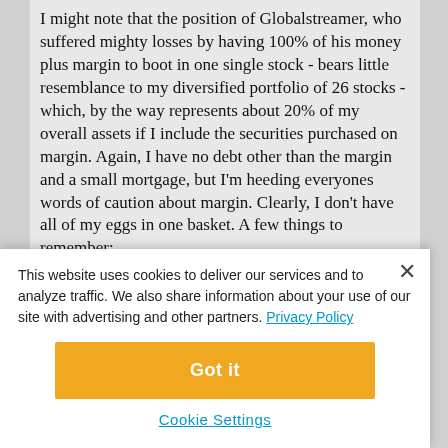I might note that the position of Globalstreamer, who suffered mighty losses by having 100% of his money plus margin to boot in one single stock - bears little resemblance to my diversified portfolio of 26 stocks - which, by the way represents about 20% of my overall assets if I include the securities purchased on margin. Again, I have no debt other than the margin and a small mortgage, but I'm heeding everyones words of caution about margin. Clearly, I don't have all of my eggs in one basket. A few things to remember:
- The overall portfolio has never been in the red since I opened it two months ago - and I bought at the current year's low. If the entire market declines more than 30%
This website uses cookies to deliver our services and to analyze traffic. We also share information about your use of our site with advertising and other partners. Privacy Policy
Got it
Cookie Settings